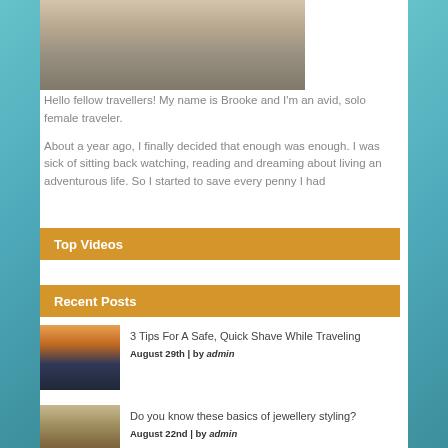[Figure (photo): Partial photo of a woman with blonde hair wearing a grey top and gold necklace, cropped at top]
Hello fellow travellers! My name is Brooke and I'm an avid, solo female traveler.
About a year ago, I finally decided that enough was enough. I was sick of sitting back watching, reading and dreaming about living an adventurous life. So I started to save every penny I had
Top Videos
Recent Posts
[Figure (photo): Thumbnail image of two silhouetted people holding hands on a beach at sunset with orange sky]
3 Tips For A Safe, Quick Shave While Traveling
August 29th | by admin
[Figure (photo): Thumbnail image of dry grass or wheat stalks]
Do you know these basics of jewellery styling?
August 22nd | by admin